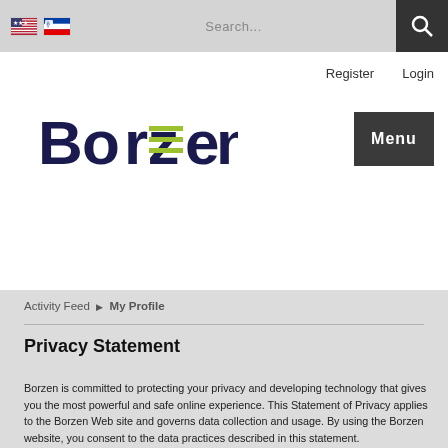[Figure (screenshot): Website header with search bar, flag icons (US and Slovenian), search input placeholder, and dark search icon button]
[Figure (logo): Borzen logo in dark navy blue with lime green horizontal lines in the letter Z]
Register  Login
Menu
Activity Feed ▶ My Profile
Privacy Statement
Borzen is committed to protecting your privacy and developing technology that gives you the most powerful and safe online experience. This Statement of Privacy applies to the Borzen Web site and governs data collection and usage. By using the Borzen website, you consent to the data practices described in this statement.
Collection of your Personal Information
Borzen collects personally identifiable information, such as your e-